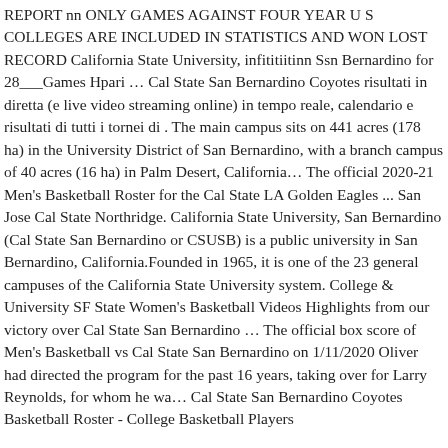REPORT nn ONLY GAMES AGAINST FOUR YEAR U S COLLEGES ARE INCLUDED IN STATISTICS AND WON LOST RECORD California State University, infititiitinn Ssn Bernardino for 28___Games Hpari … Cal State San Bernardino Coyotes risultati in diretta (e live video streaming online) in tempo reale, calendario e risultati di tutti i tornei di . The main campus sits on 441 acres (178 ha) in the University District of San Bernardino, with a branch campus of 40 acres (16 ha) in Palm Desert, California… The official 2020-21 Men's Basketball Roster for the Cal State LA Golden Eagles ... San Jose Cal State Northridge. California State University, San Bernardino (Cal State San Bernardino or CSUSB) is a public university in San Bernardino, California.Founded in 1965, it is one of the 23 general campuses of the California State University system. College & University SF State Women's Basketball Videos Highlights from our victory over Cal State San Bernardino … The official box score of Men's Basketball vs Cal State San Bernardino on 1/11/2020 Oliver had directed the program for the past 16 years, taking over for Larry Reynolds, for whom he wa… Cal State San Bernardino Coyotes Basketball Roster - College Basketball Players